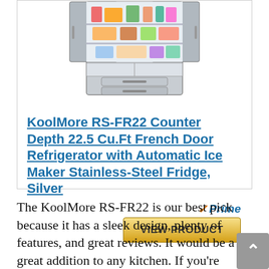[Figure (photo): Photo of an open KoolMore RS-FR22 French Door Refrigerator in silver/stainless steel, showing food stored inside with doors open, bottom freezer drawers visible.]
KoolMore RS-FR22 Counter Depth 22.5 Cu.Ft French Door Refrigerator with Automatic Ice Maker Stainless-Steel Fridge, Silver
VIEW PRODUCT
The KoolMore RS-FR22 is our best pick because it has a sleek design, plenty of features, and great reviews. It would be a great addition to any kitchen. If you're